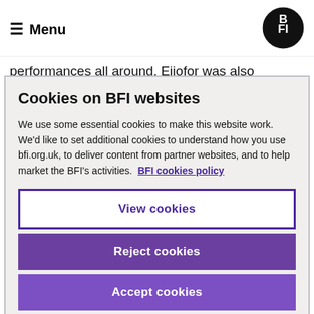Menu | BFI logo
performances all around. Ejiofor was also wonderful. He was also great in Kasi Lemmons' Talk
Cookies on BFI websites
We use some essential cookies to make this website work. We'd like to set additional cookies to understand how you use bfi.org.uk, to deliver content from partner websites, and to help market the BFI's activities. BFI cookies policy
View cookies
Reject cookies
Accept cookies